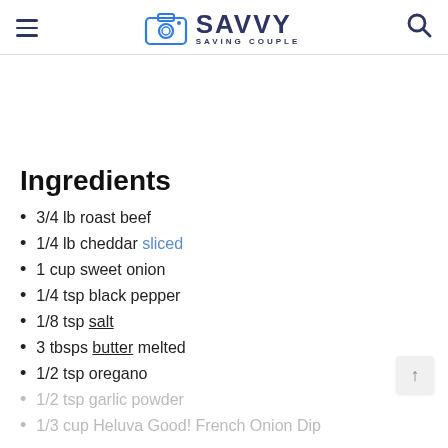SAVVY SAVING COUPLE
Ingredients
3/4 lb roast beef
1/4 lb cheddar sliced
1 cup sweet onion
1/4 tsp black pepper
1/8 tsp salt
3 tbsps butter melted
1/2 tsp oregano
1/2 tsp garlic powder
1/3 cup Heluva Good! French Onion Dip